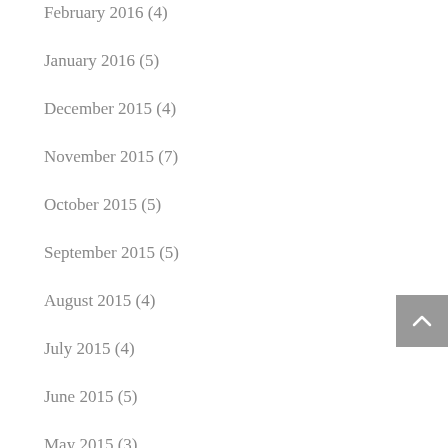February 2016 (4)
January 2016 (5)
December 2015 (4)
November 2015 (7)
October 2015 (5)
September 2015 (5)
August 2015 (4)
July 2015 (4)
June 2015 (5)
May 2015 (3)